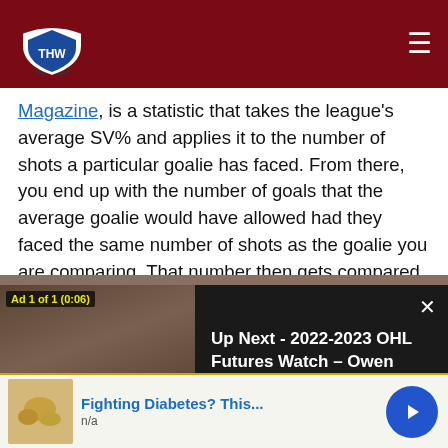THW (The Hockey Writers) navigation bar
Magazine, is a statistic that takes the league's average SV% and applies it to the number of shots a particular goalie has faced. From there, you end up with the number of goals that the average goalie would have allowed had they faced the same number of shots as the goalie you are comparing. That number then gets compared to the number of goals that the average goalie gave up, and you are left with a plus/minus.
[Figure (screenshot): Video ad overlay showing a man's face on the left side and 'Up Next - 2022-2023 OHL Futures Watch – Owen Sound Attack' text on the right side over a dark background. Ad label reads 'Ad 1 of 1 (0:06)' with a close X button.]
[Figure (screenshot): Bottom advertisement banner with food image on left, 'Fighting Diabetes? This...' link text in blue, 'n/a' subtitle, and a blue circular arrow/play button on the right.]